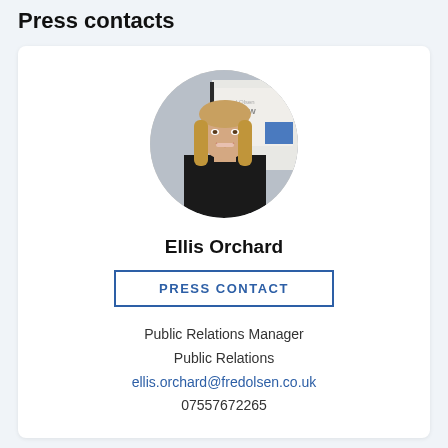Press contacts
[Figure (photo): Circular portrait photo of Ellis Orchard, a woman with long blonde hair wearing a black outfit, standing in front of a Fred Olsen Worldwide display banner.]
Ellis Orchard
PRESS CONTACT
Public Relations Manager
Public Relations
ellis.orchard@fredolsen.co.uk
07557672265